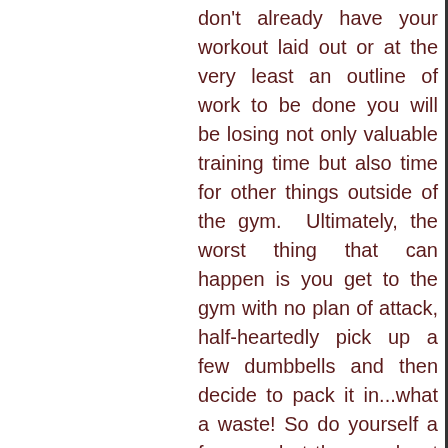don't already have your workout laid out or at the very least an outline of work to be done you will be losing not only valuable training time but also time for other things outside of the gym.  Ultimately, the worst thing that can happen is you get to the gym with no plan of attack, half-heartedly pick up a few dumbbells and then decide to pack it in...what a waste! So do yourself a favor and at the very least have an overall mission for your session...Upper Body, Lower Body, Full Body, HIIT, General Cardio, Boxing etc. and if you really want to be prepared know the specific exercises you will be doing and the reason for your training(Strength, Growth, Endurance, etc.)